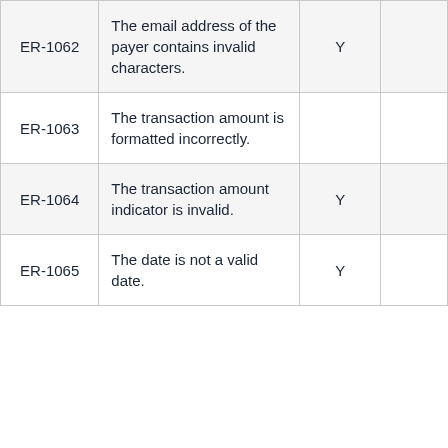| Code | Description | Flag1 | Flag2 |
| --- | --- | --- | --- |
| ER-1062 | The email address of the payer contains invalid characters. | Y |  |
| ER-1063 | The transaction amount is formatted incorrectly. |  |  |
| ER-1064 | The transaction amount indicator is invalid. | Y |  |
| ER-1065 | The date is not a valid date. | Y |  |